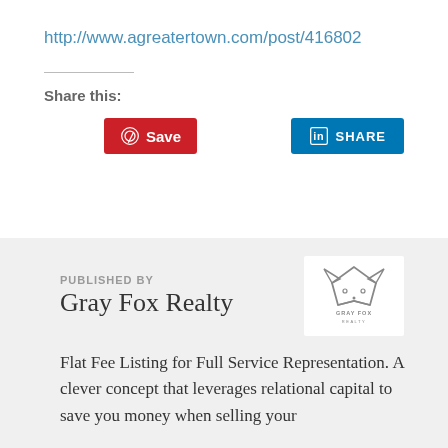http://www.agreatertown.com/post/416802
Share this:
[Figure (other): Pinterest Save button (red) and LinkedIn Share button (blue)]
PUBLISHED BY
Gray Fox Realty
[Figure (logo): Gray Fox Realty logo - stylized fox head outline with text GRAY FOX REALTY below]
Flat Fee Listing for Full Service Representation. A clever concept that leverages relational capital to save you money when selling your